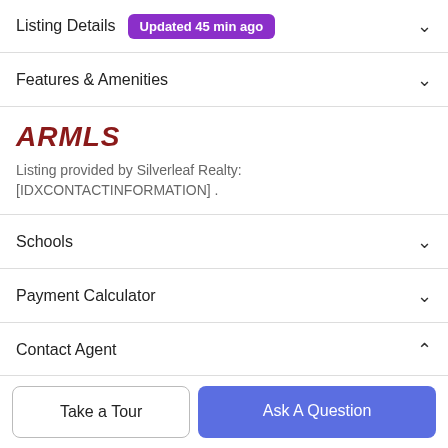Listing Details Updated 45 min ago
Features & Amenities
[Figure (logo): ARMLS logo in dark red bold italic text]
Listing provided by Silverleaf Realty: [IDXCONTACTINFORMATION] .
Schools
Payment Calculator
Contact Agent
Take a Tour
Ask A Question